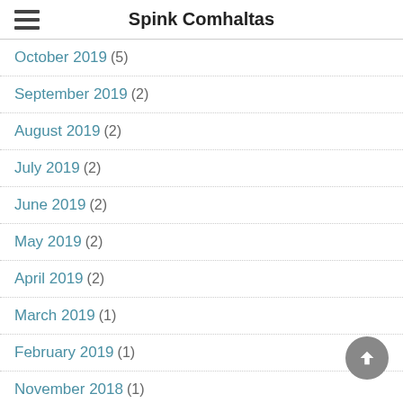Spink Comhaltas
October 2019 (5)
September 2019 (2)
August 2019 (2)
July 2019 (2)
June 2019 (2)
May 2019 (2)
April 2019 (2)
March 2019 (1)
February 2019 (1)
November 2018 (1)
August 2018 (2)